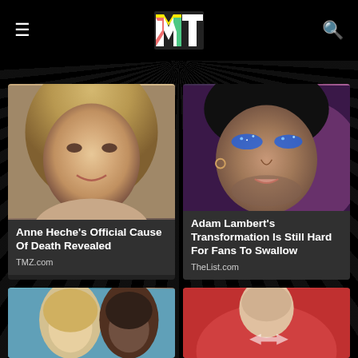MTV
[Figure (photo): Close-up portrait of Anne Heche, blonde woman smiling]
Anne Heche's Official Cause Of Death Revealed
TMZ.com
[Figure (photo): Close-up portrait of Adam Lambert wearing blue glitter eye makeup]
Adam Lambert's Transformation Is Still Hard For Fans To Swallow
TheList.com
[Figure (photo): Partial image of two people, one blonde woman and one Black man]
[Figure (photo): Partial image of person in red clothing]